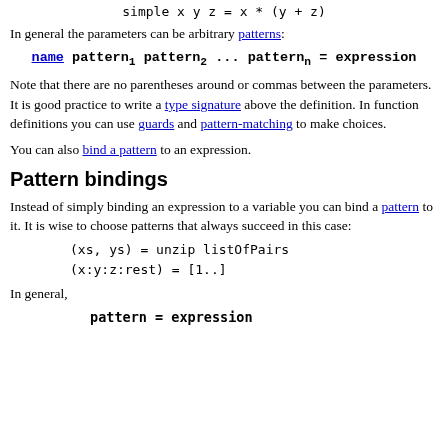In general the parameters can be arbitrary patterns:
Note that there are no parentheses around or commas between the parameters. It is good practice to write a type signature above the definition. In function definitions you can use guards and pattern-matching to make choices.
You can also bind a pattern to an expression.
Pattern bindings
Instead of simply binding an expression to a variable you can bind a pattern to it. It is wise to choose patterns that always succeed in this case:
In general,